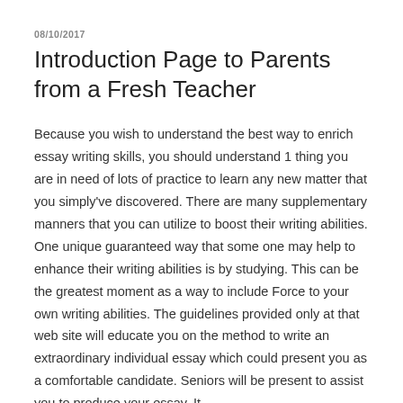08/10/2017
Introduction Page to Parents from a Fresh Teacher
Because you wish to understand the best way to enrich essay writing skills, you should understand 1 thing you are in need of lots of practice to learn any new matter that you simply've discovered. There are many supplementary manners that you can utilize to boost their writing abilities. One unique guaranteed way that some one may help to enhance their writing abilities is by studying. This can be the greatest moment as a way to include Force to your own writing abilities. The guidelines provided only at that web site will educate you on the method to write an extraordinary individual essay which could present you as a comfortable candidate. Seniors will be present to assist you to produce your essay. It